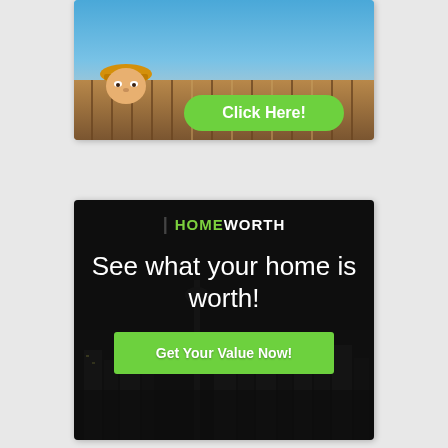[Figure (illustration): Top advertisement banner showing person peeking over a fence with text 'in your neighbourhood' and a green 'Click Here!' button]
[Figure (illustration): Bottom advertisement banner for HomeWorth with dark city skyline background, text 'See what your home is worth!' and a green 'Get Your Value Now!' button]